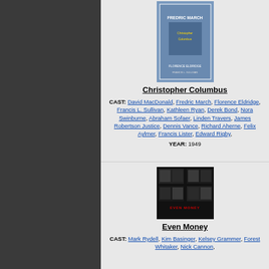[Figure (photo): Christopher Columbus movie poster]
Christopher Columbus
CAST: David MacDonald, Fredric March, Florence Eldridge, Francis L. Sullivan, Kathleen Ryan, Derek Bond, Nora Swinburne, Abraham Sofaer, Linden Travers, James Robertson Justice, Dennis Vance, Richard Aherne, Felix Aylmer, Francis Lister, Edward Rigby,
YEAR: 1949
[Figure (photo): Even Money movie poster]
Even Money
CAST: Mark Rydell, Kim Basinger, Kelsey Grammer, Forest Whitaker, Nick Cannon,